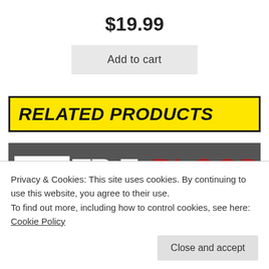$19.99
Add to cart
RELATED PRODUCTS
[Figure (photo): IDW True Blood comic book cover image showing IDW logo, #2 CVR RIB, ANDREYKO credits, and True Blood title text in red]
Privacy & Cookies: This site uses cookies. By continuing to use this website, you agree to their use.
To find out more, including how to control cookies, see here: Cookie Policy
Close and accept